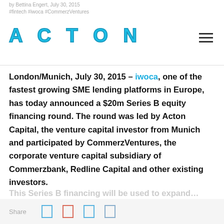by Bettina Engert, July 30, 2015 | #fintech #iwoca #CommerzVentures
[Figure (logo): ACTON logo in bold cyan/blue spaced letters]
London/Munich, July 30, 2015 – iwoca, one of the fastest growing SME lending platforms in Europe, has today announced a $20m Series B equity financing round. The round was led by Acton Capital, the venture capital investor from Munich and participated by CommerzVentures, the corporate venture capital subsidiary of Commerzbank, Redline Capital and other existing investors.
This Series B financing will be used to expand...
Share